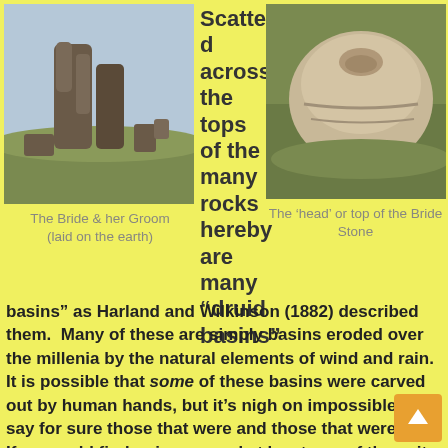[Figure (photo): Photo of tall standing rocks on moorland, 'The Bride & her Groom']
The Bride & her Groom (laid on the earth)
Scattered across the tops of the many rocks hereby are many “druid basins”
[Figure (photo): Close-up photo of the top of the Bride Stone, showing a rounded head shape]
The ‘head’ or top of the Bride Stone
basins” as Harland and Wilkinson (1882) described them.  Many of these are simply basins eroded over the millenia by the natural elements of wind and rain.  It is possible that some of these basins were carved out by human hands, but it’s nigh on impossible to say for sure those that were and those that were not.  If we could find a ring around at least one of them, it would help — but in all our searches all round here, we’ve yet to locate one complete cup-and-ring.  So we must remain sceptical.